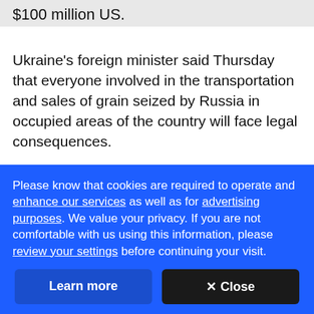$100 million US.
Ukraine's foreign minister said Thursday that everyone involved in the transportation and sales of grain seized by Russia in occupied areas of the country will face legal consequences.
[Figure (photo): Interior view of a building ceiling or warehouse with decorative light strips and structural beams, partially visible.]
Please know that cookies are required to operate and enhance our services as well as for advertising purposes. We value your privacy. If you are not comfortable with us using this information, please review your settings before continuing your visit.